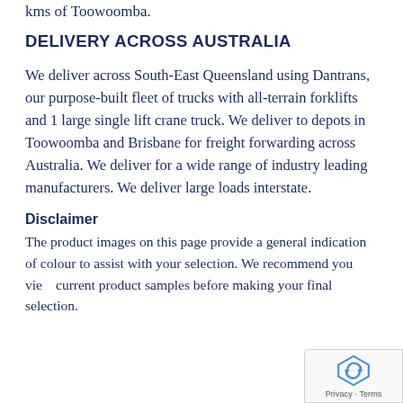kms of Toowoomba.
DELIVERY ACROSS AUSTRALIA
We deliver across South-East Queensland using Dantrans, our purpose-built fleet of trucks with all-terrain forklifts and 1 large single lift crane truck. We deliver to depots in Toowoomba and Brisbane for freight forwarding across Australia. We deliver for a wide range of industry leading manufacturers. We deliver large loads interstate.
Disclaimer
The product images on this page provide a general indication of colour to assist with your selection. We recommend you view current product samples before making your final selection.